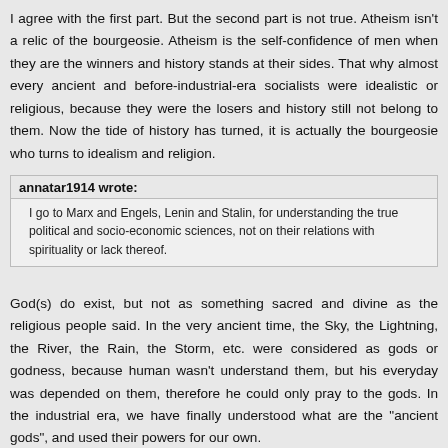I agree with the first part. But the second part is not true. Atheism isn't a relic of the bourgeosie. Atheism is the self-confidence of men when they are the winners and history stands at their sides. That why almost every ancient and before-industrial-era socialists were idealistic or religious, because they were the losers and history still not belong to them. Now the tide of history has turned, it is actually the bourgeosie who turns to idealism and religion.
annatar1914 wrote: I go to Marx and Engels, Lenin and Stalin, for understanding the true political and socio-economic sciences, not on their relations with spirituality or lack thereof.
God(s) do exist, but not as something sacred and divine as the religious people said. In the very ancient time, the Sky, the Lightning, the River, the Rain, the Storm, etc. were considered as gods or godness, because human wasn't understand them, but his everyday was depended on them, therefore he could only pray to the gods. In the industrial era, we have finally understood what are the "ancient gods", and used their powers for our own.